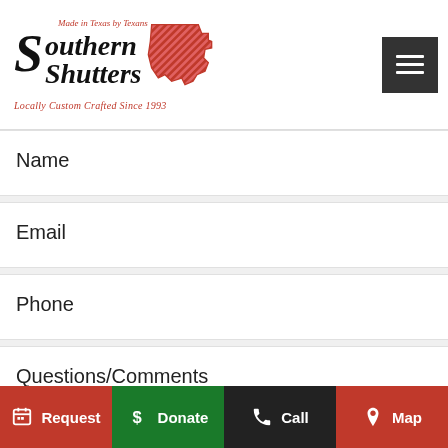[Figure (logo): Southern Shutters logo with Texas state outline, red diagonal stripe pattern, tagline 'Made in Texas by Texans, Locally Custom Crafted Since 1993']
Name
Email
Phone
Questions/Comments
Request  Donate  Call  Map